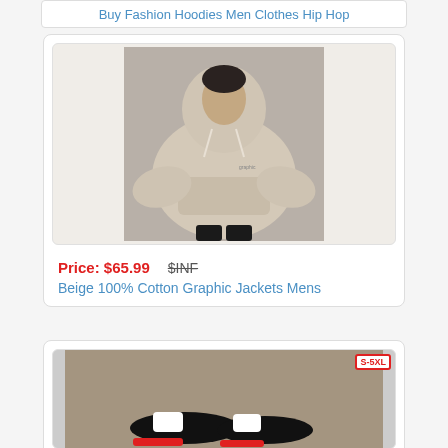Buy Fashion Hoodies Men Clothes Hip Hop
[Figure (photo): Man wearing a beige oversized hoodie with drawstring, layered cropped top style, standing outdoors]
Price: $65.99   $INF
Beige 100% Cotton Graphic Jackets Mens
[Figure (photo): Partial product photo showing shoes/feet with S-5XL size badge in corner]